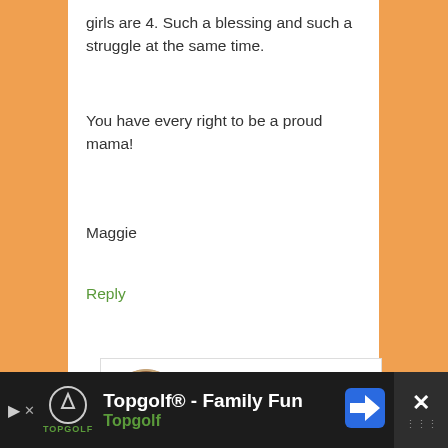girls are 4. Such a blessing and such a struggle at the same time.
You have every right to be a proud mama!
Maggie
Reply
[Figure (photo): Avatar photo of Melissa H-K, a woman with short brown hair, smiling, circular crop]
Melissa H-K says
October 15, 2013 at 8:02 pm
So glad that you enjoyed Meg's blog! And yes, I am a grandma to twins—and to three singletons.
[Figure (infographic): Advertisement banner for Topgolf - Family Fun, dark background with Topgolf logo, navigation arrow icon, and close button]